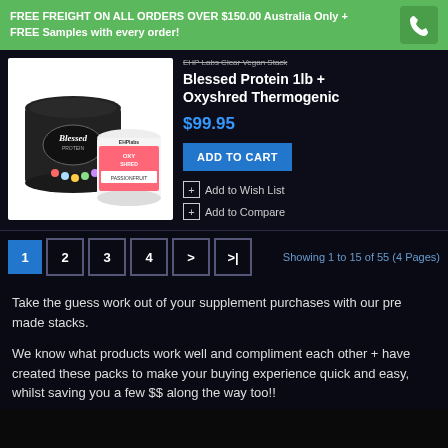FREE FREIGHT ON ALL ORDERS OVER $150.00 Australia Only + FREE Samples with every order!
EHP Labs Clear Vegan Stack Blessed Protein 1lb + Oxyshred Thermogenic
$99.95
ADD TO CART
Add to Wish List
Add to Compare
Showing 1 to 15 of 55 (4 Pages)
Take the guess work out of your supplement purchases with our pre made stacks.
We know what products work well and compliment each other + have created these packs to make your buying experience quick and easy, whilst saving you a few $$ along the way too!!